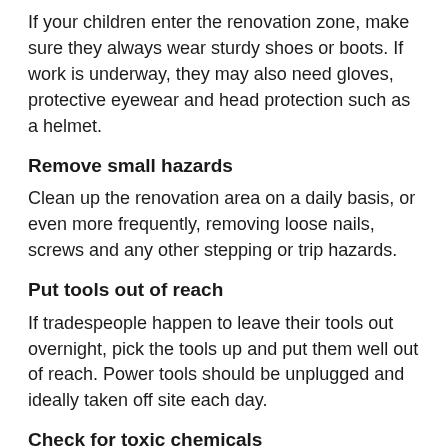If your children enter the renovation zone, make sure they always wear sturdy shoes or boots. If work is underway, they may also need gloves, protective eyewear and head protection such as a helmet.
Remove small hazards
Clean up the renovation area on a daily basis, or even more frequently, removing loose nails, screws and any other stepping or trip hazards.
Put tools out of reach
If tradespeople happen to leave their tools out overnight, pick the tools up and put them well out of reach. Power tools should be unplugged and ideally taken off site each day.
Check for toxic chemicals
Paints, solvents and other toxic materials such as fillers are often left on site. Place them on a high shelf, or lock them away...